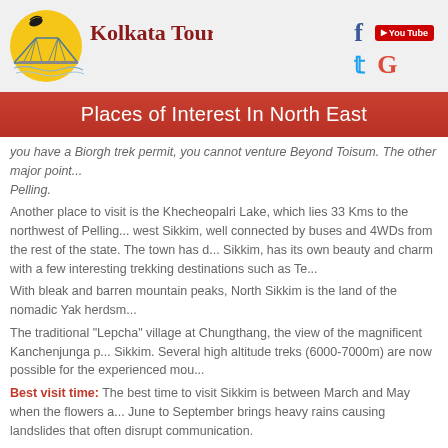[Figure (logo): Kolkata Tours logo with bridge and bird illustration on yellow circle background, with text 'Kolkata Tours' in dark red serif font]
[Figure (infographic): Social media icons: Facebook (f), YouTube, Twitter (bird), Google (G)]
Places of Interest In North East
you have a Biorgh trek permit, you cannot venture beyond Toisum. The other major point... Pelling.
Another place to visit is the Khecheopalri Lake, which lies 33 Kms to the northwest of Pelling... west Sikkim, well connected by buses and 4WDs from the rest of the state. The town has d... Sikkim, has its own beauty and charm with a few interesting trekking destinations such as Te...
With bleak and barren mountain peaks, North Sikkim is the land of the nomadic Yak herdsm...
The traditional "Lepcha" village at Chungthang, the view of the magnificent Kanchenjunga p... Sikkim. Several high altitude treks (6000-7000m) are now possible for the experienced mou...
Best visit time: The best time to visit Sikkim is between March and May when the flowers a... June to September brings heavy rains causing landslides that often disrupt communication.